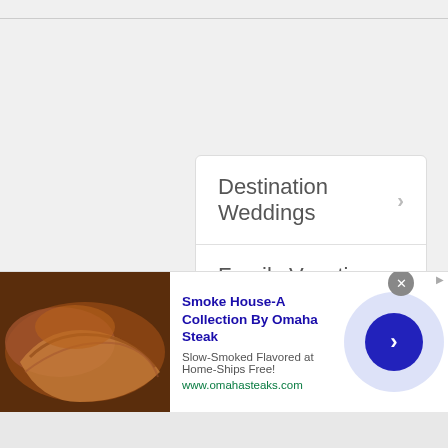Destination Weddings
Family Vacation Packages
Spa & Wellness Packages
Romantic & Honeymoon Packages
Girls Getaways
Summer Specials
[Figure (infographic): Advertisement banner for Smoke House-A Collection By Omaha Steak showing smoked meat image, ad title, tagline and URL with a circular arrow button]
Smoke House-A Collection By Omaha Steak
Slow-Smoked Flavored at Home-Ships Free!
www.omahasteaks.com